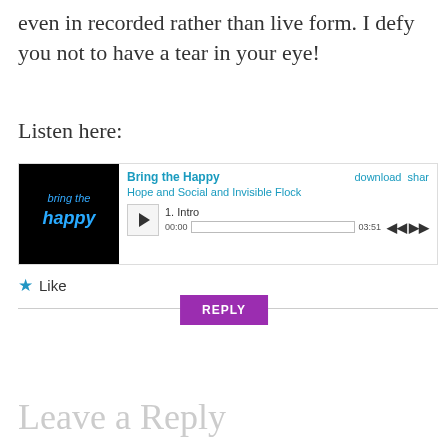even in recorded rather than live form. I defy you not to have a tear in your eye!
Listen here:
[Figure (screenshot): Embedded music player for 'Bring the Happy' by Hope and Social and Invisible Flock. Shows album art (black background with neon blue 'bring the happy' text), track title 'Bring the Happy', download and share links, artist name, and a playback control for track 1. Intro with timestamp 00:00 to 03:51.]
Like
REPLY
Leave a Reply